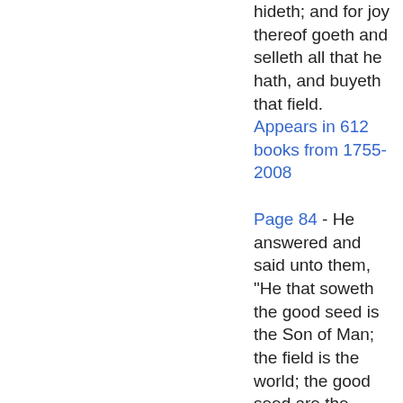hideth; and for joy thereof goeth and selleth all that he hath, and buyeth that field.
Appears in 612 books from 1755-2008
Page 84 - He answered and said unto them, "He that soweth the good seed is the Son of Man; the field is the world; the good seed are the children of the kingdom; but the tares are the children of the wicked one; the enemy that sowed them is the devil; the harvest is the end of the world: and the reapers are the angels. As, therefore, the tares are gathered and burned in the fire: so shall it be